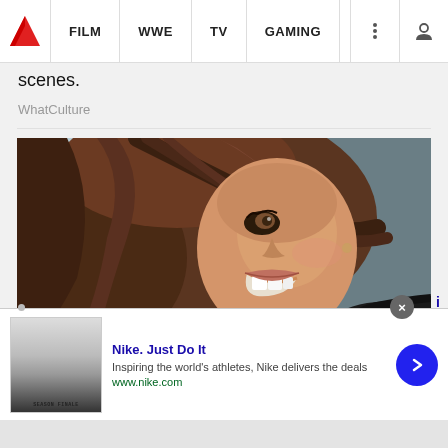WhatCulture — FILM | WWE | TV | GAMING
scenes.
WhatCulture
[Figure (photo): Close-up portrait of a smiling brunette woman with hair across her face, looking at camera]
[Figure (infographic): Nike advertisement banner: 'Nike. Just Do It' — Inspiring the world's athletes, Nike delivers the deals — www.nike.com — with thumbnail image and blue arrow button]